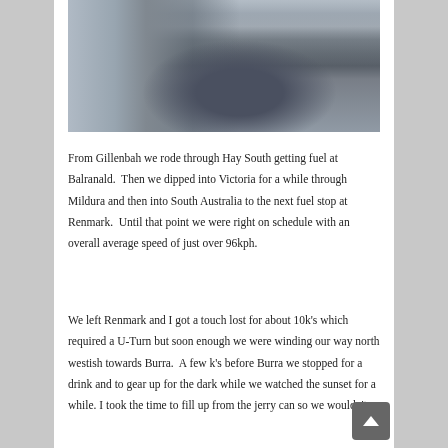[Figure (photo): A motorcycle parked at a petrol/fuel station. The bike appears loaded with luggage. Other vehicles including cars are visible in the background. The scene is outdoors in daylight.]
From Gillenbah we rode through Hay South getting fuel at Balranald.  Then we dipped into Victoria for a while through Mildura and then into South Australia to the next fuel stop at Renmark.  Until that point we were right on schedule with an overall average speed of just over 96kph.
We left Renmark and I got a touch lost for about 10k's which required a U-Turn but soon enough we were winding our way north westish towards Burra.  A few k's before Burra we stopped for a drink and to gear up for the dark while we watched the sunset for a while. I took the time to fill up from the jerry can so we wouldn't